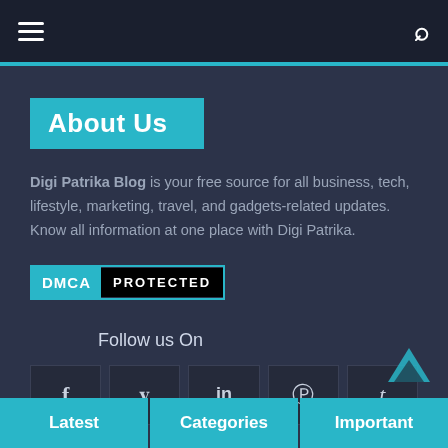Navigation bar with hamburger menu and search icon
About Us
Digi Patrika Blog is your free source for all business, tech, lifestyle, marketing, travel, and gadgets-related updates. Know all information at one place with Digi Patrika.
[Figure (logo): DMCA PROTECTED badge with cyan DMCA label on left and black PROTECTED label on right]
Follow us On
[Figure (infographic): Social media icons row: Facebook (f), Twitter (bird), LinkedIn (in), Pinterest (P), Tumblr (t)]
Latest | Categories | Important